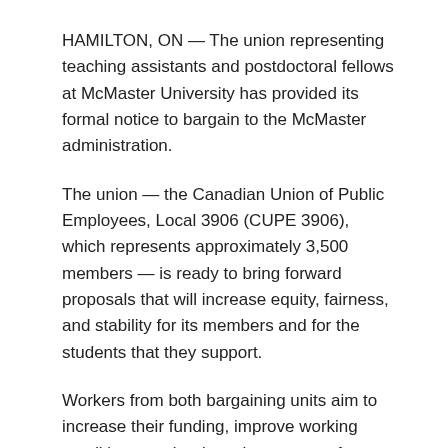HAMILTON, ON — The union representing teaching assistants and postdoctoral fellows at McMaster University has provided its formal notice to bargain to the McMaster administration.
The union — the Canadian Union of Public Employees, Local 3906 (CUPE 3906), which represents approximately 3,500 members — is ready to bring forward proposals that will increase equity, fairness, and stability for its members and for the students that they support.
Workers from both bargaining units aim to increase their funding, improve working conditions, and reduce the amount of financial instability that they experience during their time at McMaster. In short, they are looking to build a #BetterMac.